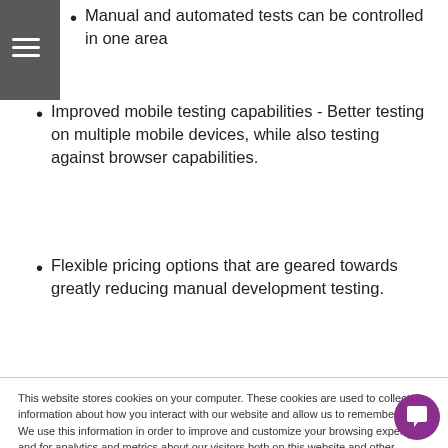ACCELERANCE
Manual and automated tests can be controlled in one area
Improved mobile testing capabilities - Better testing on multiple mobile devices, while also testing against browser capabilities.
Flexible pricing options that are geared towards greatly reducing manual development testing.
This website stores cookies on your computer. These cookies are used to collect information about how you interact with our website and allow us to remember you. We use this information in order to improve and customize your browsing experience and for analytics and metrics about our visitors both on this website and other media. To find out more about the cookies we use, see our Privacy Policy

We won't track your information when you visit our site. But in order to comply with your preferences, we'll have to use just one tiny cookie so that you're not asked to make this choice again.